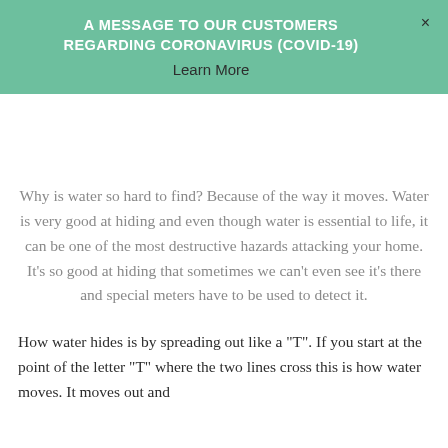A MESSAGE TO OUR CUSTOMERS REGARDING CORONAVIRUS (COVID-19)
Learn More
Why is water so hard to find? Because of the way it moves. Water is very good at hiding and even though water is essential to life, it can be one of the most destructive hazards attacking your home. It’s so good at hiding that sometimes we can’t even see it’s there and special meters have to be used to detect it.
How water hides is by spreading out like a “T”. If you start at the point of the letter “T” where the two lines cross this is how water moves. It moves out and